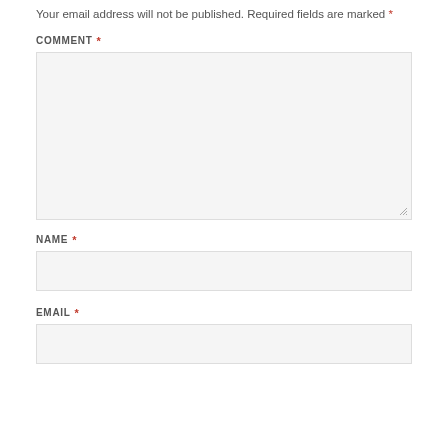Your email address will not be published. Required fields are marked *
COMMENT *
[Figure (other): Comment text area input field (large, resizable)]
NAME *
[Figure (other): Name text input field]
EMAIL *
[Figure (other): Email text input field]